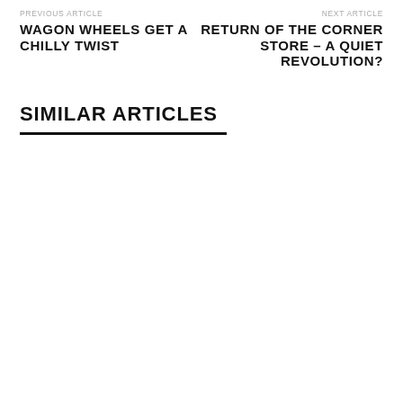PREVIOUS ARTICLE
WAGON WHEELS GET A CHILLY TWIST
NEXT ARTICLE
RETURN OF THE CORNER STORE – A QUIET REVOLUTION?
SIMILAR ARTICLES